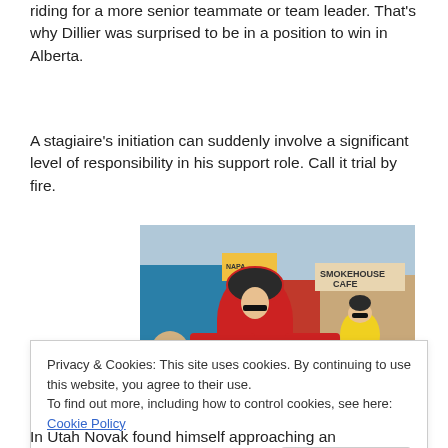riding for a more senior teammate or team leader. That's why Dillier was surprised to be in a position to win in Alberta.
A stagiaire's initiation can suddenly involve a significant level of responsibility in his support role. Call it trial by fire.
[Figure (photo): A cyclist in a red and black BMC jersey racing in a criterium or road race, with spectators and storefronts (including a Smokehouse Cafe sign) visible in the background. Another rider in a yellow jersey is behind.]
Privacy & Cookies: This site uses cookies. By continuing to use this website, you agree to their use.
To find out more, including how to control cookies, see here: Cookie Policy
In Utah Novak found himself approaching an intermediate